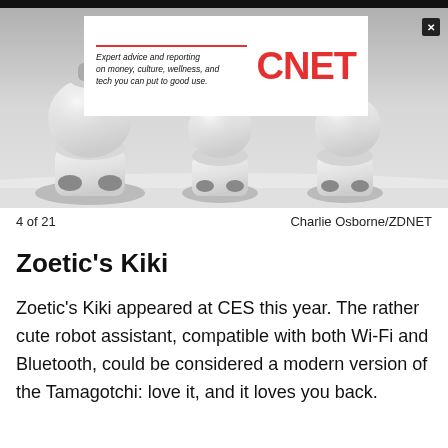[Figure (photo): Three white rounded robot devices with grey accents sitting on a white surface, viewed from behind/side. CNET advertisement banner overlaid at top.]
4 of 21    Charlie Osborne/ZDNET
Zoetic's Kiki
Zoetic's Kiki appeared at CES this year. The rather cute robot assistant, compatible with both Wi-Fi and Bluetooth, could be considered a modern version of the Tamagotchi: love it, and it loves you back.